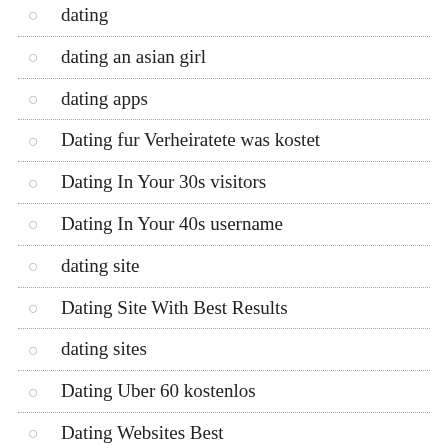dating
dating an asian girl
dating apps
Dating fur Verheiratete was kostet
Dating In Your 30s visitors
Dating In Your 40s username
dating site
Dating Site With Best Results
dating sites
Dating Uber 60 kostenlos
Dating Websites Best
Dating.Com opinion